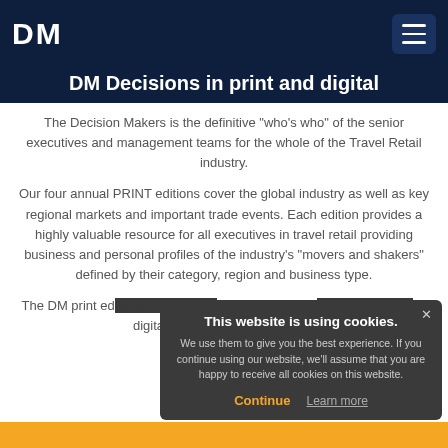DM
DM Decisions in print and digital
The Decision Makers is the definitive “who’s who” of the senior executives and management teams for the whole of the Travel Retail industry.
Our four annual PRINT editions cover the global industry as well as key regional markets and important trade events. Each edition provides a highly valuable resource for all executives in travel retail providing business and personal profiles of the industry’s “movers and shakers” defined by their category, region and business type.
The DM print editions reach travel retail’s most influential... in digital format...
This website is using cookies. We use them to give you the best experience. If you continue using our website, we’ll assume that you are happy to receive all cookies on this website. Continue  Learn more